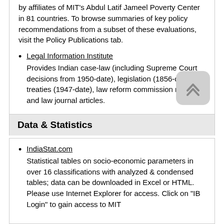by affiliates of MIT's Abdul Latif Jameel Poverty Center in 81 countries. To browse summaries of key policy recommendations from a subset of these evaluations, visit the Policy Publications tab.
Legal Information Institute
Provides Indian case-law (including Supreme Court decisions from 1950-date), legislation (1856-date), treaties (1947-date), law reform commission reports, and law journal articles.
Data & Statistics
IndiaStat.com
Statistical tables on socio-economic parameters in over 16 classifications with analyzed & condensed tables; data can be downloaded in Excel or HTML. Please use Internet Explorer for access. Click on "IB Login" to gain access to MIT...